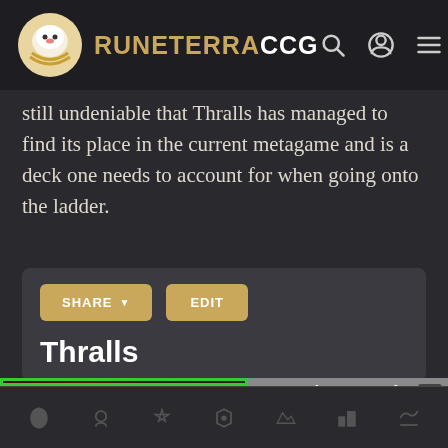RUNETERRACCG
still undeniable that Thralls has managed to find its place in the current metagame and is a deck one needs to account for when going onto the ladder.
[Figure (screenshot): Card deck interface with SHARE and EDIT buttons, and Thralls title text]
[Figure (screenshot): Video player overlay showing error message 'The media could not be loaded, either because the server or network failed or because the format is not supported.' alongside a Yasuo Main Meets New Udyr - Best of LoL Streams 2119 sidebar ad with close button]
Bottom navigation bar with game icons